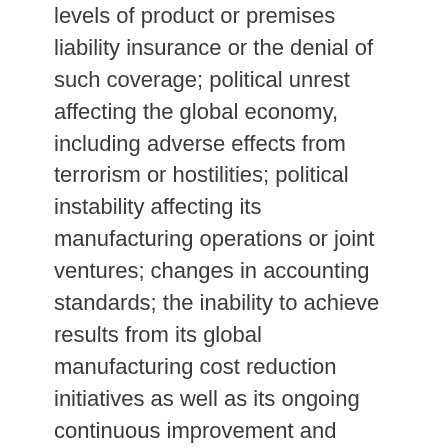levels of product or premises liability insurance or the denial of such coverage; political unrest affecting the global economy, including adverse effects from terrorism or hostilities; political instability affecting its manufacturing operations or joint ventures; changes in accounting standards; the inability to achieve results from its global manufacturing cost reduction initiatives as well as its ongoing continuous improvement and rationalization programs; changes in the jurisdictional mix of its earnings and changes in tax laws and rates; changes in monetary policies, inflation or interest rates that may impact its ability to raise capital or increase its cost of funds, impact the performance of its pension fund investments and increase its pension expense and funding obligations; volatility and uncertainties in the debt and equity markets; technology or intellectual property infringement, including cyber-security breaches, and